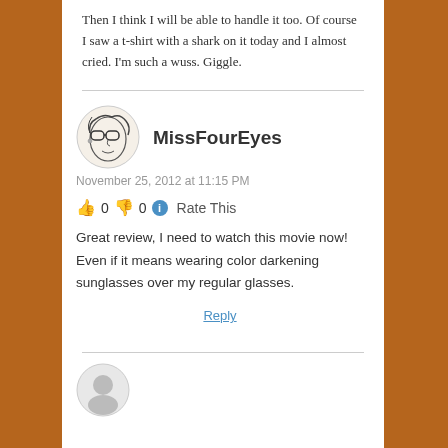Then I think I will be able to handle it too. Of course I saw a t-shirt with a shark on it today and I almost cried. I'm such a wuss. Giggle.
👍 0 👎 0 ℹ Rate This
MissFourEyes
November 25, 2012 at 11:15 PM
👍 0 👎 0 ℹ Rate This
Great review, I need to watch this movie now! Even if it means wearing color darkening sunglasses over my regular glasses.
Reply